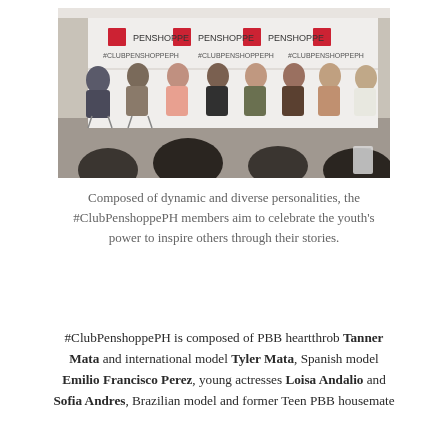[Figure (photo): Panel of young celebrities seated in director chairs at a Penshoppe #ClubPenshoppePH press event, with a branded backdrop behind them and an audience in the foreground.]
Composed of dynamic and diverse personalities, the #ClubPenshoppePH members aim to celebrate the youth's power to inspire others through their stories.
#ClubPenshoppePH is composed of PBB heartthrob Tanner Mata and international model Tyler Mata, Spanish model Emilio Francisco Perez, young actresses Loisa Andalio and Sofia Andres, Brazilian model and former Teen PBB housemate